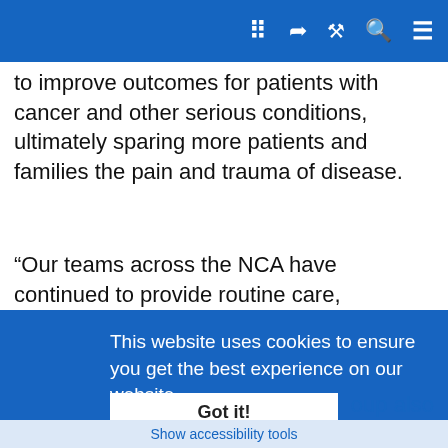NHS navigation bar with icons
to improve outcomes for patients with cancer and other serious conditions, ultimately sparing more patients and families the pain and trauma of disease.
“Our teams across the NCA have continued to provide routine care, throughout the pandemic, alongside treating thousands of seriously ill Covid patients in hospital, and the roll-out of the community diagnostics hub in Oldham will help us to spot problems sooner, when they are easier to treat.”
This website uses cookies to ensure you get the best experience on our website.
Learn more
Got it!
Nicola Hepburn, Director of Commissioning for NHS Oldha
Show accessibility tools
oup also